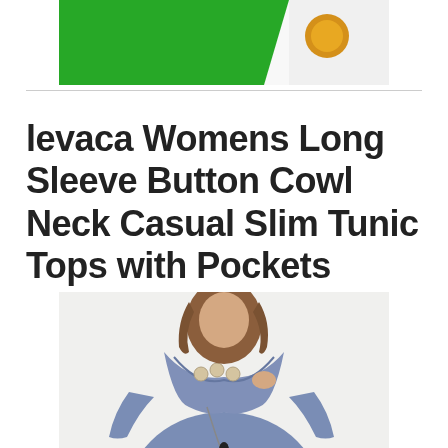[Figure (photo): Advertisement banner with green diagonal shape and circular orange icon on white background]
levaca Womens Long Sleeve Button Cowl Neck Casual Slim Tunic Tops with Pockets
[Figure (photo): Woman wearing a blue/grey cowl neck tunic top with large buttons at the neckline, wearing a long necklace, shown from upper torso up]